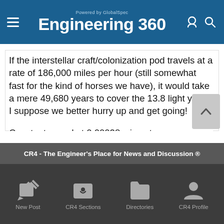Engineering 360 – Powered by GlobalSpec
If the interstellar craft/colonization pod travels at a rate of 186,000 miles per hour (still somewhat fast for the kind of horses we have), it would take a mere 49,680 years to cover the 13.8 light years. I suppose we better hurry up and get going!
Constant speed at 0.00028 c is not recommended. I think something along the lines of acceleration at a constant of 1-1.5 G is in order. This would shorten the transit time by a considerable amount, without making the colonization pod inhabitants lose their ability to stand in G. During the deceleration epoch (a long…
CR4 - The Engineer's Place for News and Discussion ®
New Post  CR4 Sections  Directories  CR4 Profile